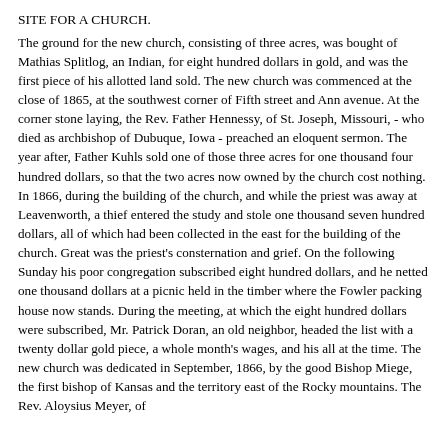SITE FOR A CHURCH.
The ground for the new church, consisting of three acres, was bought of Mathias Splitlog, an Indian, for eight hundred dollars in gold, and was the first piece of his allotted land sold. The new church was commenced at the close of 1865, at the southwest corner of Fifth street and Ann avenue. At the corner stone laying, the Rev. Father Hennessy, of St. Joseph, Missouri, - who died as archbishop of Dubuque, Iowa - preached an eloquent sermon. The year after, Father Kuhls sold one of those three acres for one thousand four hundred dollars, so that the two acres now owned by the church cost nothing. In 1866, during the building of the church, and while the priest was away at Leavenworth, a thief entered the study and stole one thousand seven hundred dollars, all of which had been collected in the east for the building of the church. Great was the priest's consternation and grief. On the following Sunday his poor congregation subscribed eight hundred dollars, and he netted one thousand dollars at a picnic held in the timber where the Fowler packing house now stands. During the meeting, at which the eight hundred dollars were subscribed, Mr. Patrick Doran, an old neighbor, headed the list with a twenty dollar gold piece, a whole month's wages, and his all at the time. The new church was dedicated in September, 1866, by the good Bishop Miege, the first bishop of Kansas and the territory east of the Rocky mountains. The Rev. Aloysius Meyer, of